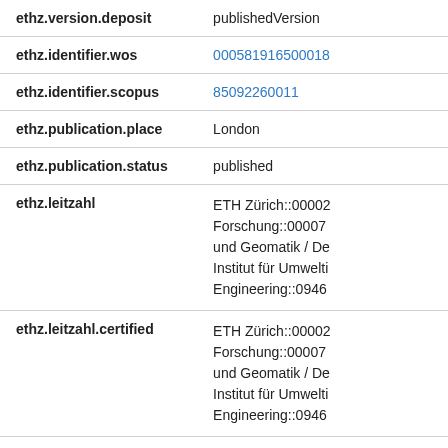| Property | Value |
| --- | --- |
| ethz.version.deposit | publishedVersion |
| ethz.identifier.wos | 000581916500018 |
| ethz.identifier.scopus | 85092260011 |
| ethz.publication.place | London |
| ethz.publication.status | published |
| ethz.leitzahl | ETH Zürich::00002
Forschung::00007
und Geomatik / De
Institut für Umwelti
Engineering::0946 |
| ethz.leitzahl.certified | ETH Zürich::00002
Forschung::00007
und Geomatik / De
Institut für Umwelti
Engineering::0946 |
| ethz.date.deposited | 2020-10-16T03:42 |